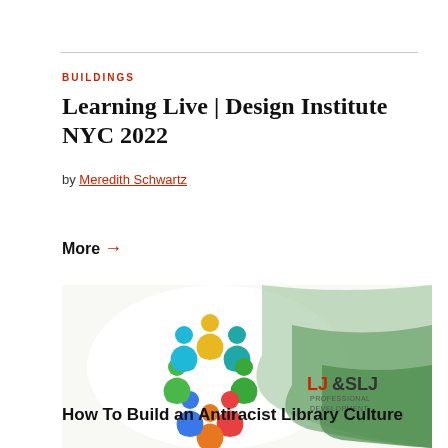BUILDINGS
Learning Live | Design Institute NYC 2022
by Meredith Schwartz
More →
[Figure (illustration): Promotional graphic for 'How To Build an Antiracist Library Culture' webinar with colorful circular figures logo and LJ&SLJ Professional Development branding on a green wave background.]
How To Build an Antiracist Library Culture